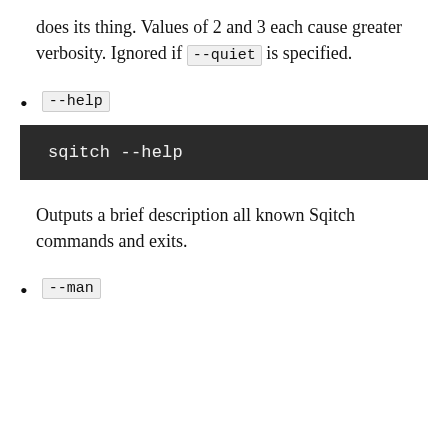does its thing. Values of 2 and 3 each cause greater verbosity. Ignored if --quiet is specified.
--help
sqitch --help
Outputs a brief description all known Sqitch commands and exits.
--man